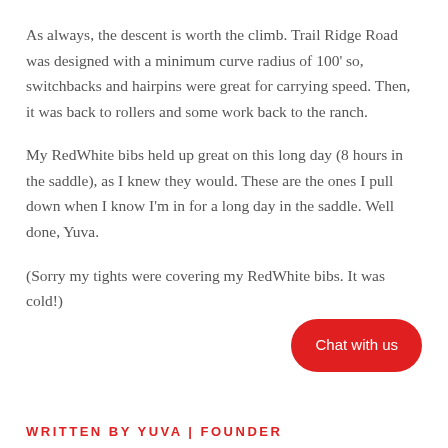As always, the descent is worth the climb.  Trail Ridge Road was designed with a minimum curve radius of 100' so, switchbacks and hairpins were great for carrying speed.  Then, it was back to rollers and some work back to the ranch.
My RedWhite bibs held up great on this long day (8 hours in the saddle), as I knew they would.  These are the ones I pull down when I know I'm in for a long day in the saddle.  Well done, Yuva.
(Sorry my tights were covering my RedWhite bibs.  It was cold!)
Chat with us
WRITTEN BY YUVA | FOUNDER